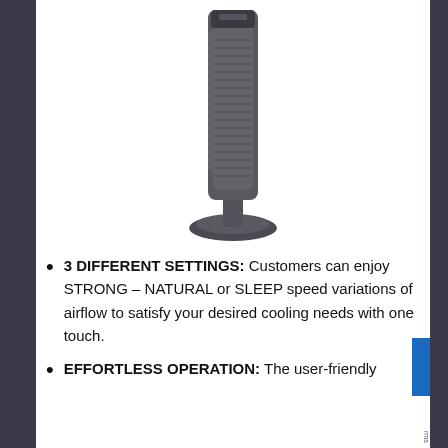[Figure (photo): Tower fan product photo – tall dark gray/charcoal tower fan with oscillation louvers and a round base, shown against white background]
3 DIFFERENT SETTINGS: Customers can enjoy STRONG – NATURAL or SLEEP speed variations of airflow to satisfy your desired cooling needs with one touch.
EFFORTLESS OPERATION: The user-friendly